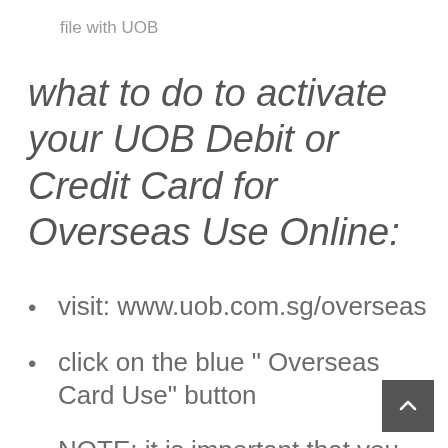file with UOB
what to do to activate your UOB Debit or Credit Card for Overseas Use Online:
visit: www.uob.com.sg/overseas
click on the blue “ Overseas Card Use” button
NOTE: it is important that you make sure your mobile phone